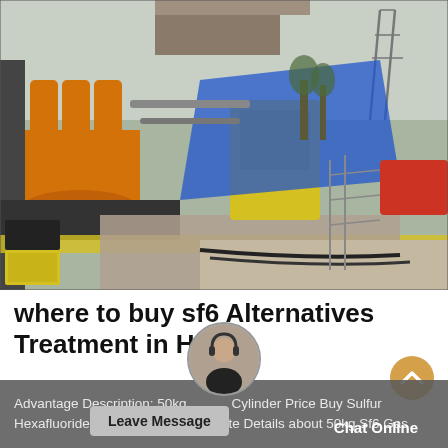[Figure (photo): Industrial SF6 gas handling equipment scene: large orange cylindrical tanks and yellow machinery on the left, a worker in blue protective suit working on a platform in the center, power transmission towers visible in the background on the right side.]
where to buy sf6 Alternatives Treatment in Haiti
Advantage Description: 50kg Cylinder Price Buy Sulfur Hexafluoride For Sale, Find Complete Details about 50kg Sf6 Gas
Leave Message
Chat Online